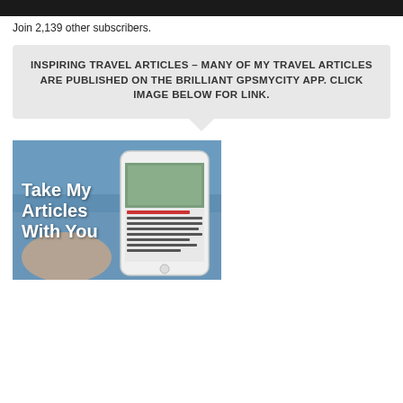[Figure (other): Dark banner at the top of the page]
Join 2,139 other subscribers.
INSPIRING TRAVEL ARTICLES – MANY OF MY TRAVEL ARTICLES ARE PUBLISHED ON THE BRILLIANT GPSMYCITY APP. CLICK IMAGE BELOW FOR LINK.
[Figure (photo): Person holding a smartphone displaying a travel article app, with text overlay reading 'Take My Articles With You']